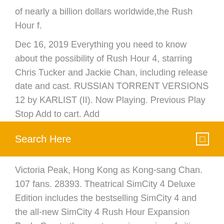of nearly a billion dollars worldwide,the Rush Hour f.
Dec 16, 2019 Everything you need to know about the possibility of Rush Hour 4, starring Chris Tucker and Jackie Chan, including release date and cast. RUSSIAN TORRENT VERSIONS 12 by KARLIST (II). Now Playing. Previous Play Stop Add to cart. Add
Search Here
Victoria Peak, Hong Kong as Kong-sang Chan. 107 fans. 28393. Theatrical SimCity 4 Deluxe Edition includes the bestselling SimCity 4 and the all-new SimCity 4 Rush Hour Expansion Pack. Create the most massive region of cities ever. Purchase Rush Hour 3 on digital and stream instantly or download offline. With a combined box-office gross of nearly a billion dollars worldwide,the Rush Hour f.
Find album reviews, stream songs, credits and award information for Rush Hour [Original Soundtrack] -